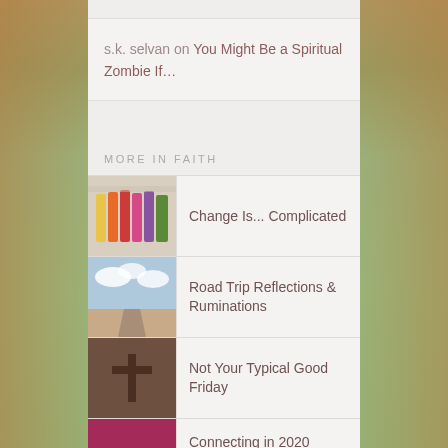s.k. selvan on You Might Be a Spiritual Zombie If…
MORE IN FAITH
Change Is... Complicated
Road Trip Reflections & Ruminations
Not Your Typical Good Friday
Connecting in 2020